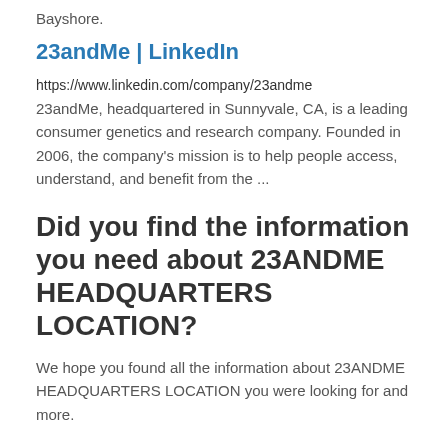Bayshore.
23andMe | LinkedIn
https://www.linkedin.com/company/23andme
23andMe, headquartered in Sunnyvale, CA, is a leading consumer genetics and research company. Founded in 2006, the company's mission is to help people access, understand, and benefit from the ...
Did you find the information you need about 23ANDME HEADQUARTERS LOCATION?
We hope you found all the information about 23ANDME HEADQUARTERS LOCATION you were looking for and more.
0-9 Corporate Office
A Corporate Office